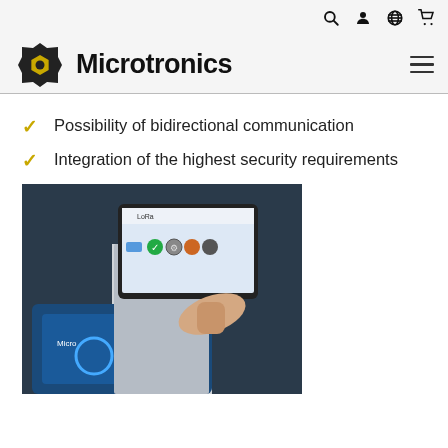Microtronics
Possibility of bidirectional communication
Integration of the highest security requirements
[Figure (photo): A person holding a Samsung tablet showing a LoRa configuration app interface, positioned over an open device enclosure containing blue electronic hardware with a Microtronics logo.]